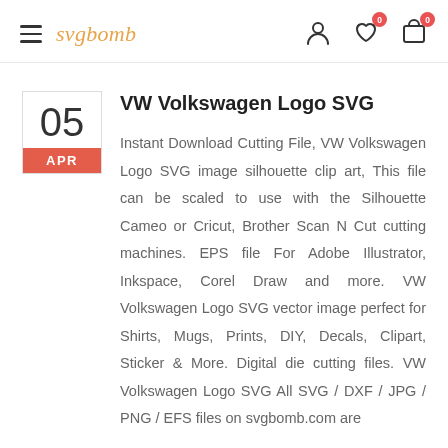svgbomb — navigation bar with hamburger menu, logo, user icon, wishlist (0), cart (0)
VW Volkswagen Logo SVG
Instant Download Cutting File, VW Volkswagen Logo SVG image silhouette clip art, This file can be scaled to use with the Silhouette Cameo or Cricut, Brother Scan N Cut cutting machines. EPS file For Adobe Illustrator, Inkspace, Corel Draw and more. VW Volkswagen Logo SVG vector image perfect for Shirts, Mugs, Prints, DIY, Decals, Clipart, Sticker & More. Digital die cutting files. VW Volkswagen Logo SVG All SVG / DXF / JPG / PNG / EFS files on svgbomb.com are